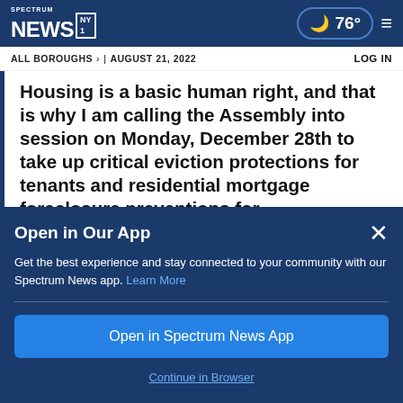Spectrum News NY1 | 76° | Menu
ALL BOROUGHS > | AUGUST 21, 2022 | LOG IN
Housing is a basic human right, and that is why I am calling the Assembly into session on Monday, December 28th to take up critical eviction protections for tenants and residential mortgage foreclosure preventions for homeowners./1
Open in Our App
Get the best experience and stay connected to your community with our Spectrum News app. Learn More
Open in Spectrum News App
Continue in Browser